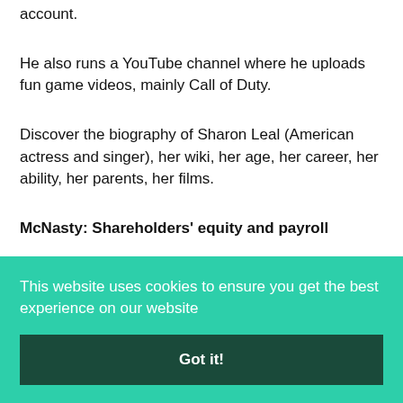account.
He also runs a YouTube channel where he uploads fun game videos, mainly Call of Duty.
Discover the biography of Sharon Leal (American actress and singer), her wiki, her age, her career, her ability, her parents, her films.
McNasty: Shareholders' equity and payroll
This website uses cookies to ensure you get the best experience on our website
Got it!